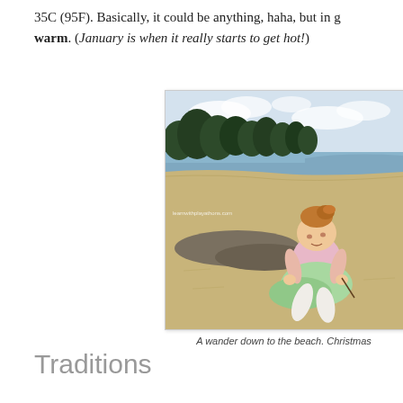35C (95F). Basically, it could be anything, haha, but in general it is warm. (January is when it really starts to get hot!)
[Figure (photo): A baby/toddler in a pink top and green tutu skirt sitting on a sandy beach, playing with something in the sand. Trees and sea visible in background. Watermark: learnwithplayathons.com]
A wander down to the beach. Christmas
Traditions